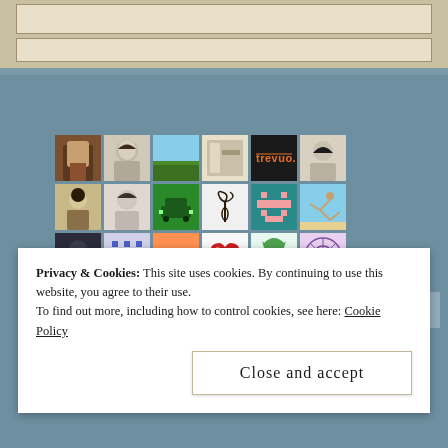[Figure (screenshot): A grid of user avatar thumbnails arranged in 5 rows and 6 columns, showing profile photos, pixel art avatars, illustrations, and icons on a blue-grey background]
Privacy & Cookies: This site uses cookies. By continuing to use this website, you agree to their use.
To find out more, including how to control cookies, see here: Cookie Policy
Close and accept